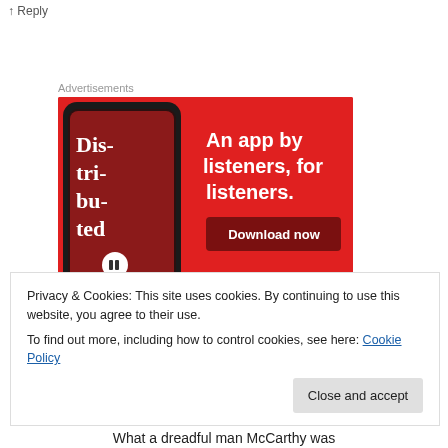↑ Reply
Advertisements
[Figure (illustration): Advertisement banner with red background showing a smartphone running a podcast app with text 'Dis-tri-bu-ted' and tagline 'An app by listeners, for listeners.' with a 'Download now' button.]
Privacy & Cookies: This site uses cookies. By continuing to use this website, you agree to their use.
To find out more, including how to control cookies, see here: Cookie Policy
Close and accept
What a dreadful man McCarthy was